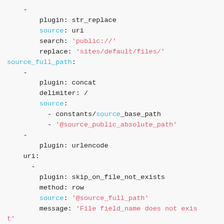Code block showing YAML/migration plugin configuration with plugin: str_replace, source_full_path, plugin: concat, plugin: urlencode, uri, plugin: skip_on_file_not_exists, plugin: file_copy settings